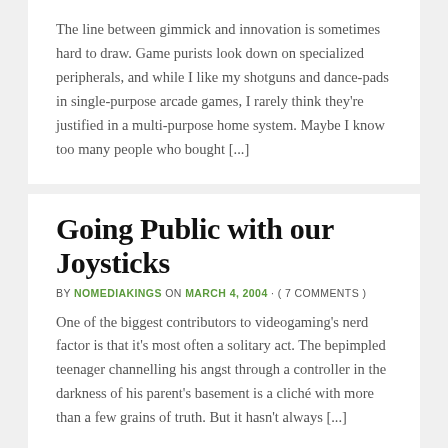The line between gimmick and innovation is sometimes hard to draw. Game purists look down on specialized peripherals, and while I like my shotguns and dance-pads in single-purpose arcade games, I rarely think they're justified in a multi-purpose home system. Maybe I know too many people who bought [...]
Going Public with our Joysticks
BY NOMEDIAKINGS ON MARCH 4, 2004 · ( 7 COMMENTS )
One of the biggest contributors to videogaming's nerd factor is that it's most often a solitary act. The bepimpled teenager channelling his angst through a controller in the darkness of his parent's basement is a cliché with more than a few grains of truth. But it hasn't always [...]